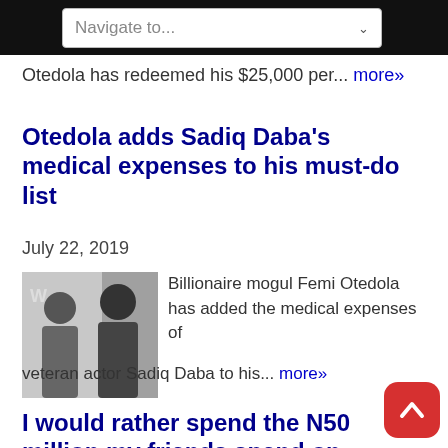Navigate to...
Otedola has redeemed his $25,000 per... more»
Otedola adds Sadiq Daba's medical expenses to his must-do list
July 22, 2019
Billionaire mogul Femi Otedola has added the medical expenses of veteran actor Sadiq Daba to his... more»
I would rather spend the N50 million my friends spend on champagne to